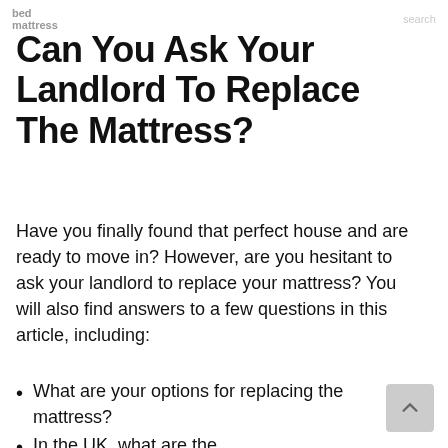bed mattress
Can You Ask Your Landlord To Replace The Mattress?
Have you finally found that perfect house and are ready to move in? However, are you hesitant to ask your landlord to replace your mattress? You will also find answers to a few questions in this article, including:
What are your options for replacing the mattress?
In the UK, what are the